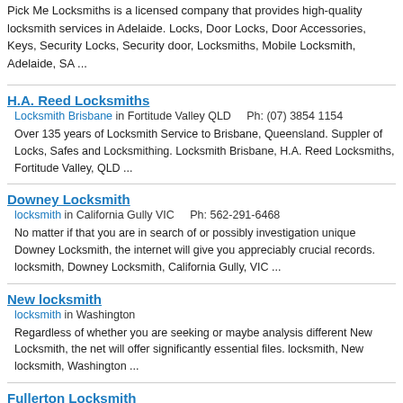Pick Me Locksmiths is a licensed company that provides high-quality locksmith services in Adelaide. Locks, Door Locks, Door Accessories, Keys, Security Locks, Security door, Locksmiths, Mobile Locksmith, Adelaide, SA ...
H.A. Reed Locksmiths
Locksmith Brisbane in Fortitude Valley QLD    Ph: (07) 3854 1154
Over 135 years of Locksmith Service to Brisbane, Queensland. Suppler of Locks, Safes and Locksmithing. Locksmith Brisbane, H.A. Reed Locksmiths, Fortitude Valley, QLD ...
Downey Locksmith
locksmith in California Gully VIC    Ph: 562-291-6468
No matter if that you are in search of or possibly investigation unique Downey Locksmith, the internet will give you appreciably crucial records. locksmith, Downey Locksmith, California Gully, VIC ...
New locksmith
locksmith in Washington
Regardless of whether you are seeking or maybe analysis different New Locksmith, the net will offer significantly essential files. locksmith, New locksmith, Washington ...
Fullerton Locksmith